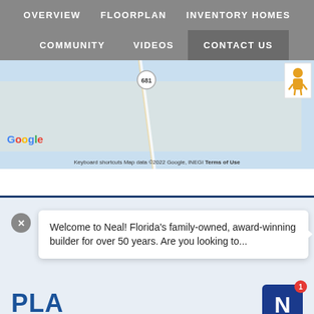OVERVIEW   FLOORPLAN   INVENTORY HOMES
COMMUNITY   VIDEOS   CONTACT US
[Figure (map): Google Maps screenshot showing road 681 near coastal area with Google logo, keyboard shortcuts, map data copyright 2022 Google INEGI, Terms of Use, and a street view person icon]
Welcome to Neal! Florida's family-owned, award-winning builder for over 50 years. Are you looking to...
PL